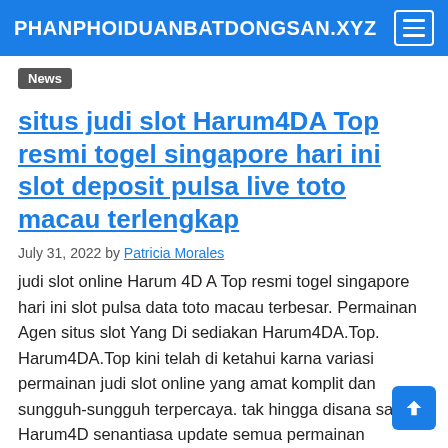PHANPHOIDUANBATDONGSAN.XYZ
News
situs judi slot Harum4DA Top resmi togel singapore hari ini slot deposit pulsa live toto macau terlengkap
July 31, 2022 by Patricia Morales
judi slot online Harum 4D A Top resmi togel singapore hari ini slot pulsa data toto macau terbesar. Permainan Agen situs slot Yang Di sediakan Harum4DA.Top. Harum4DA.Top kini telah di ketahui karna variasi permainan judi slot online yang amat komplit dan sungguh-sungguh terpercaya. tak hingga disana saja Harum4D senantiasa update semua permainan Harum4D supaya memberikan [...]